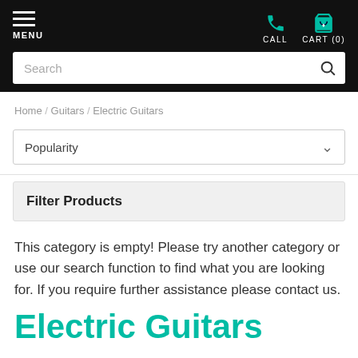MENU | CALL | CART (0)
Search
Home / Guitars / Electric Guitars
Popularity
Filter Products
This category is empty! Please try another category or use our search function to find what you are looking for. If you require further assistance please contact us.
Electric Guitars